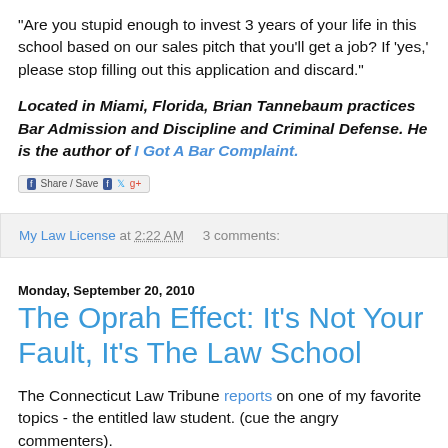"Are you stupid enough to invest 3 years of your life in this school based on our sales pitch that you'll get a job? If 'yes,' please stop filling out this application and discard."
Located in Miami, Florida, Brian Tannebaum practices Bar Admission and Discipline and Criminal Defense. He is the author of I Got A Bar Complaint.
[Figure (other): Share/Save social sharing button bar with Facebook, Twitter, and +1 icons]
My Law License at 2:22 AM   3 comments:
Monday, September 20, 2010
The Oprah Effect: It's Not Your Fault, It's The Law School
The Connecticut Law Tribune reports on one of my favorite topics - the entitled law student. (cue the angry commenters).
The article...